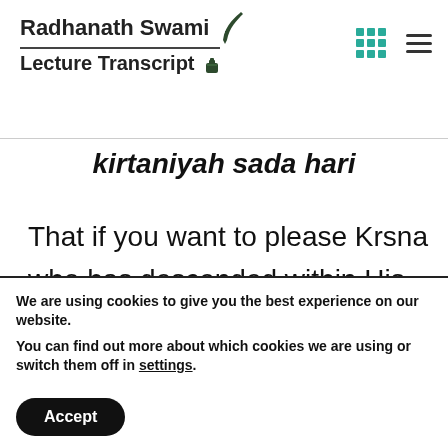Radhanath Swami Lecture Transcript
kirtaniyah sada hari
That if you want to please Krsna who has descended within His name, we have to approach the name in a way that will satisfy the Lord and that means to be humble like a blade of grass, to be
We are using cookies to give you the best experience on our website.
You can find out more about which cookies we are using or switch them off in settings.
Accept